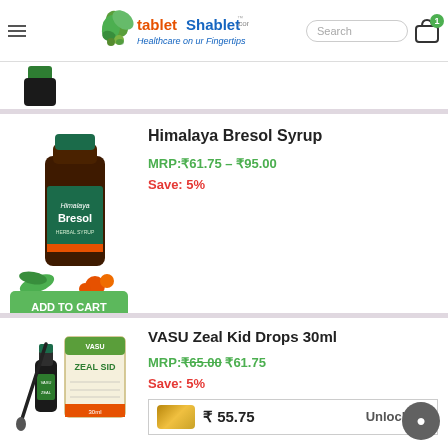tabletShablet.com — Healthcare on ur Fingertips
[Figure (photo): Partial product image at top of page (dark bottle cap visible)]
Himalaya Bresol Syrup
MRP:₹61.75 – ₹95.00
Save: 5%
[Figure (photo): Himalaya Bresol Syrup bottle with herbs]
VASU Zeal Kid Drops 30ml
MRP:₹65.00 ₹61.75
Save: 5%
[Figure (photo): VASU Zeal Kid Drops 30ml bottle with dropper and box]
₹ 55.75  Unlock 🔒